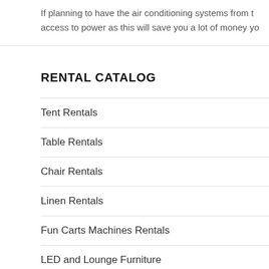If planning to have the air conditioning systems from t… access to power as this will save you a lot of money yo…
RENTAL CATALOG
Tent Rentals
Table Rentals
Chair Rentals
Linen Rentals
Fun Carts Machines Rentals
LED and Lounge Furniture